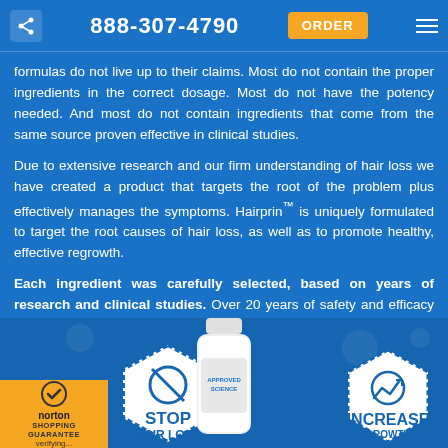888-307-4790  ORDER
formulas do not live up to their claims. Most do not contain the proper ingredients in the correct dosage. Most do not have the potency needed. And most do not contain ingredients that come from the same source proven effective in clinical studies.
Due to extensive research and our firm understanding of hair loss we have created a product that targets the root of the problem plus effectively manages the symptoms. Hairprin™ is uniquely formulated to target the root causes of hair loss, as well as to promote healthy, effective regrowth.
Each ingredient was carefully selected, based on years of research and clinical studies. Over 20 years of safety and efficacy research has been documented on the main ingredients in Hairprin™.
[Figure (infographic): Bottom banner showing Norton Shopping Guarantee badge, a hexagonal 'STOP HAIR LOSS' badge, a product bottle labeled Approved Science, and a hexagonal 'INCREASE GROWTH' badge with upward chart icon]